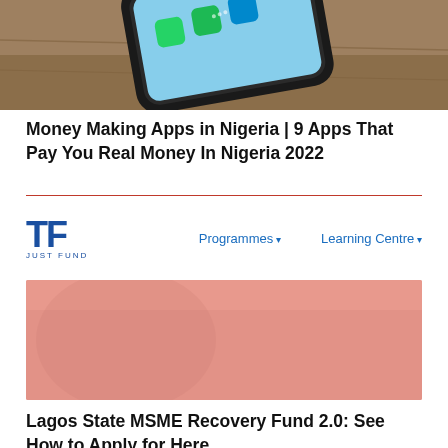[Figure (photo): A smartphone lying on a wooden surface showing app icons on screen]
Money Making Apps in Nigeria | 9 Apps That Pay You Real Money In Nigeria 2022
[Figure (logo): TF JUST FUND logo with navigation links: Programmes, Learning Centre]
[Figure (photo): Pink/salmon colored banner image with text: Lagos MSME Recovery Fund 2.0]
Lagos State MSME Recovery Fund 2.0: See How to Apply for Here